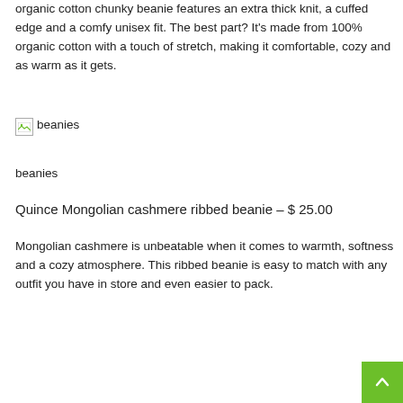organic cotton chunky beanie features an extra thick knit, a cuffed edge and a comfy unisex fit. The best part? It's made from 100% organic cotton with a touch of stretch, making it comfortable, cozy and as warm as it gets.
[Figure (illustration): Broken image placeholder with alt text 'beanies']
beanies
Quince Mongolian cashmere ribbed beanie – $ 25.00
Mongolian cashmere is unbeatable when it comes to warmth, softness and a cozy atmosphere. This ribbed beanie is easy to match with any outfit you have in store and even easier to pack.